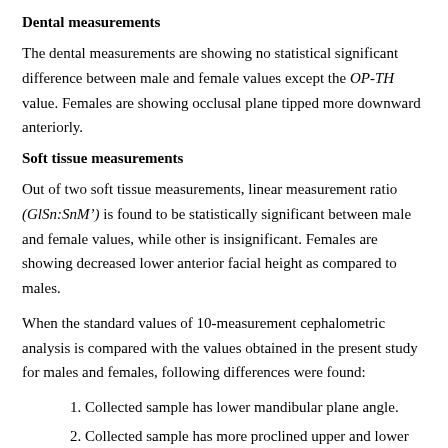Dental measurements
The dental measurements are showing no statistical significant difference between male and female values except the OP-TH value. Females are showing occlusal plane tipped more downward anteriorly.
Soft tissue measurements
Out of two soft tissue measurements, linear measurement ratio (GlSn:SnM’) is found to be statistically significant between male and female values, while other is insignificant. Females are showing decreased lower anterior facial height as compared to males.
When the standard values of 10-measurement cephalometric analysis is compared with the values obtained in the present study for males and females, following differences were found:
1. Collected sample has lower mandibular plane angle.
2. Collected sample has more proclined upper and lower incisors.
In the present study variation is found in the Inclination of occlusal plane and palatal Plane in relation to TH.